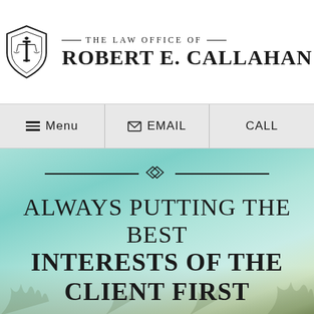[Figure (logo): The Law Office of Robert E. Callahan logo with scales of justice inside a shield shape]
— THE LAW OFFICE OF — ROBERT E. CALLAHAN
[Figure (screenshot): Navigation bar with Menu, EMAIL, and CALL options on light gray background]
ALWAYS PUTTING THE BEST INTERESTS OF THE CLIENT FIRST